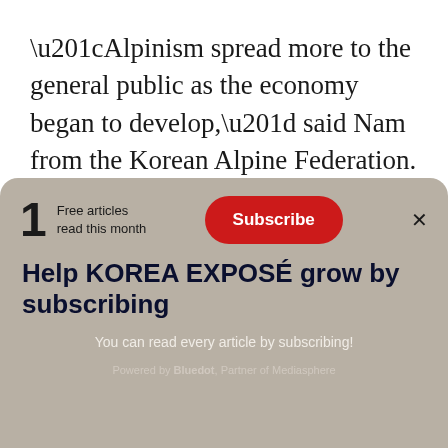“Alpinism spread more to the general public as the economy began to develop,” said Nam from the Korean Alpine Federation. “The number of alpine groups increased.” But widespread hiking in today’s sense still didn’t exist.
What se llow ski thi the 1989 Come the
[Figure (other): Paywall subscription overlay banner with: '1 Free articles read this month', Subscribe button, headline 'Help KOREA EXPOSÉ grow by subscribing', subtext 'You can read every article by subscribing!', footer 'Powered by Bluedot, Partner of Mediasphere']